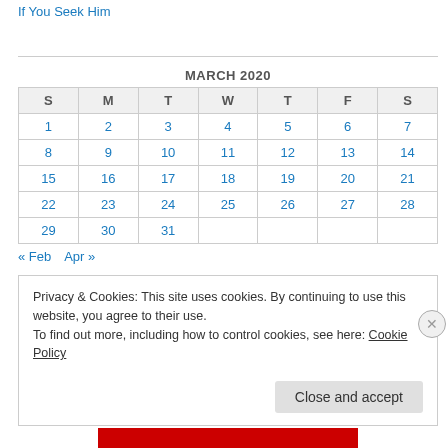If You Seek Him
| S | M | T | W | T | F | S |
| --- | --- | --- | --- | --- | --- | --- |
| 1 | 2 | 3 | 4 | 5 | 6 | 7 |
| 8 | 9 | 10 | 11 | 12 | 13 | 14 |
| 15 | 16 | 17 | 18 | 19 | 20 | 21 |
| 22 | 23 | 24 | 25 | 26 | 27 | 28 |
| 29 | 30 | 31 |  |  |  |  |
« Feb   Apr »
Privacy & Cookies: This site uses cookies. By continuing to use this website, you agree to their use.
To find out more, including how to control cookies, see here: Cookie Policy